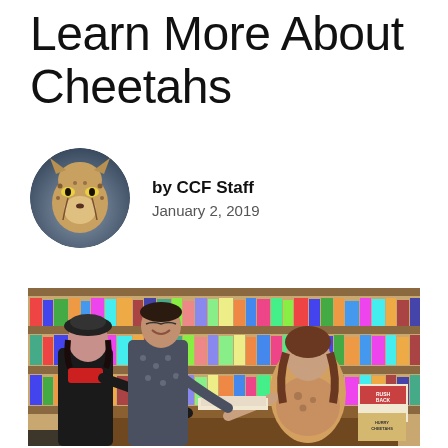Learn More About Cheetahs
by CCF Staff
January 2, 2019
[Figure (photo): Circular avatar photo of a cheetah face close-up with spots and yellow eyes]
[Figure (photo): Photo of three people at a bookstore book signing event. A seated woman signs a book called 'Cheetahs' for two standing visitors (a woman in black with red scarf and a man in patterned shirt). Bookshelves line the walls behind them. A book titled 'RUSH BACK' and another 'CHEETAHS' are visible on the table.]